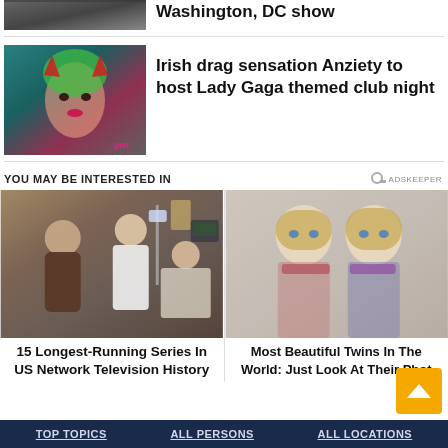[Figure (photo): Partial top image, cropped performers on stage, Washington DC show context]
Washington, DC show
[Figure (photo): Irish drag performer Anziety with red devil horns against teal background, gen logo watermark]
Irish drag sensation Anziety to host Lady Gaga themed club night
YOU MAY BE INTERESTED IN
[Figure (photo): Scene from a long-running US network TV drama with hospital setting]
[Figure (photo): Two blonde twin girls posing for photo]
15 Longest-Running Series In US Network Television History
Most Beautiful Twins In The World: Just Look At Their Photos
TOP TOPICS   ALL PERSONS   ALL LOCATIONS